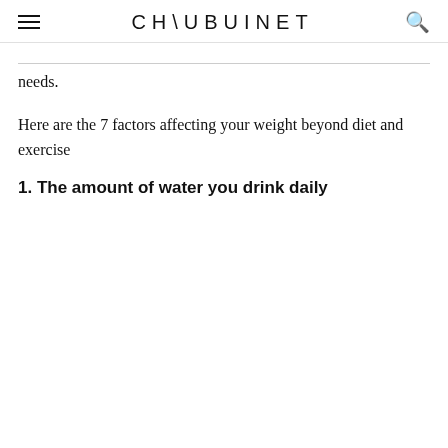CHAUBUINET
needs.
Here are the 7 factors affecting your weight beyond diet and exercise
1. The amount of water you drink daily